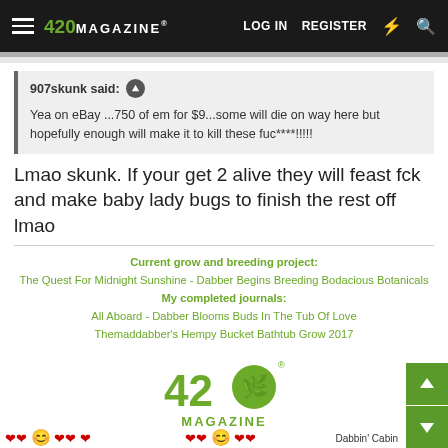420 MAGAZINE | LOG IN | REGISTER
907skunk said: ↑

Yea on eBay ...750 of em for $9...some will die on way here but hopefully enough will make it to kill these fuc****!!!!!
Lmao skunk. If your get 2 alive they will feast fck and make baby lady bugs to finish the rest off lmao
Current grow and breeding project:
The Quest For Midnight Sunshine - Dabber Begins Breeding Bodacious Botanicals
My completed journals:
All Aboard - Dabber Blooms Buds In The Tub Of Love
Themaddabber's Hempy Bucket Bathtub Grow 2017
Remember the more you know, the more you grow!!!
[Figure (logo): 420 Magazine logo with cannabis leaf]